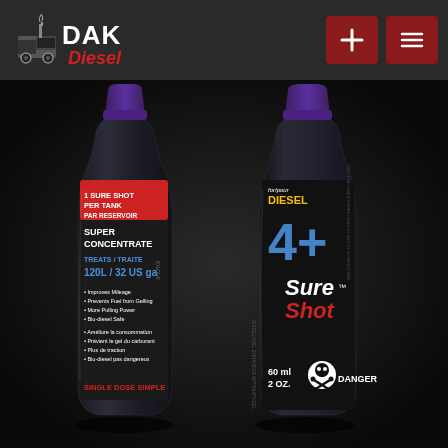[Figure (logo): DAK Diesel logo with truck icon on dark header bar]
[Figure (photo): Two black bottles of 4+ Sure Shot diesel fuel enhancer with anti-gel. Left bottle label shows: 1 SURE SHOT PER TANK / PAR RESERVOIR, SUPER CONCENTRATE, TREATS / TRAITE 120L / 32 US ga, bullet points: Improves Mileage, Prevents Fuel from Gelling, More Pulling Power, Bio-diesel Safe, French equivalents, SINGLE DOSE SIMPLE, SHOT02. Right bottle shows: for/pour DIESEL, 4+ Sure Shot, DIESEL FUEL ENHANCER WITH ANTI-GEL / AMELIORATION ULTIME DE PERFORMANCE AVEC ANTI-GEL, 60 ml / 2 OZ., DANGER with skull crossbones symbol.]